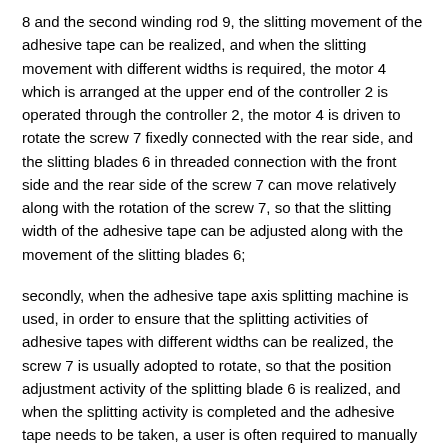8 and the second winding rod 9, the slitting movement of the adhesive tape can be realized, and when the slitting movement with different widths is required, the motor 4 which is arranged at the upper end of the controller 2 is operated through the controller 2, the motor 4 is driven to rotate the screw 7 fixedly connected with the rear side, and the slitting blades 6 in threaded connection with the front side and the rear side of the screw 7 can move relatively along with the rotation of the screw 7, so that the slitting width of the adhesive tape can be adjusted along with the movement of the slitting blades 6;
secondly, when the adhesive tape axis splitting machine is used, in order to ensure that the splitting activities of adhesive tapes with different widths can be realized, the screw 7 is usually adopted to rotate, so that the position adjustment activity of the splitting blade 6 is realized, and when the splitting activity is completed and the adhesive tape needs to be taken, a user is often required to manually cut off one redundant adhesive tape, so that the labor capacity of workers is increased, and the whole use is not convenient enough;